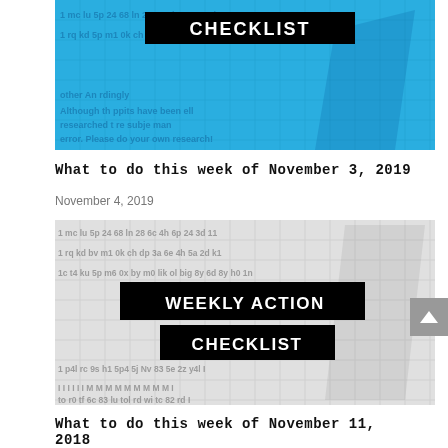[Figure (illustration): Blue background checklist image with 'CHECKLIST' banner in black, watermark grid text visible, and faded text about topics being subject to human error and research.]
What to do this week of November 3, 2019
November 4, 2019
[Figure (illustration): Light gray background Weekly Action Checklist image with 'WEEKLY ACTION CHECKLIST' in two black banners, watermark grid of numbers and symbols visible.]
What to do this week of November 11, 2018